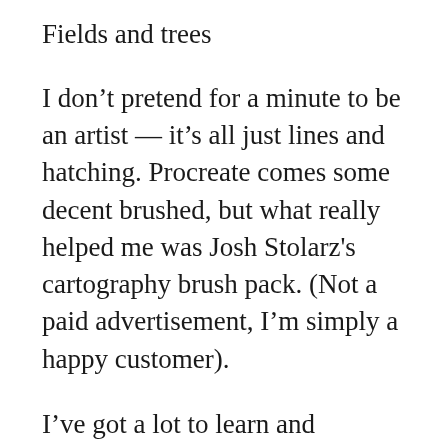Fields and trees
I don’t pretend for a minute to be an artist — it’s all just lines and hatching. Procreate comes some decent brushed, but what really helped me was Josh Stolarz's cartography brush pack. (Not a paid advertisement, I’m simply a happy customer).
I’ve got a lot to learn and practice, I consume a LOT of tutorials on blogs and YouTube. After years of half-hearted attempts and struggling with shitty drawing